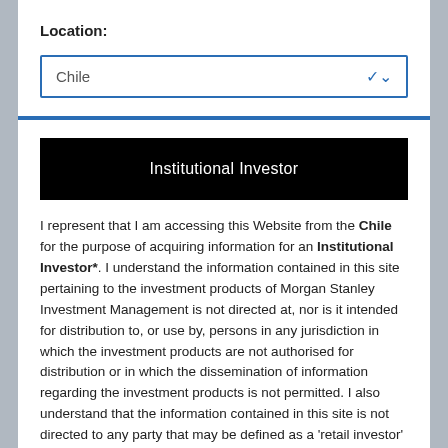Location:
Chile
Institutional Investor
I represent that I am accessing this Website from the Chile for the purpose of acquiring information for an Institutional Investor*. I understand the information contained in this site pertaining to the investment products of Morgan Stanley Investment Management is not directed at, nor is it intended for distribution to, or use by, persons in any jurisdiction in which the investment products are not authorised for distribution or in which the dissemination of information regarding the investment products is not permitted. I also understand that the information contained in this site is not directed to any party that may be defined as a 'retail investor' by the home regulator of the country where the website is